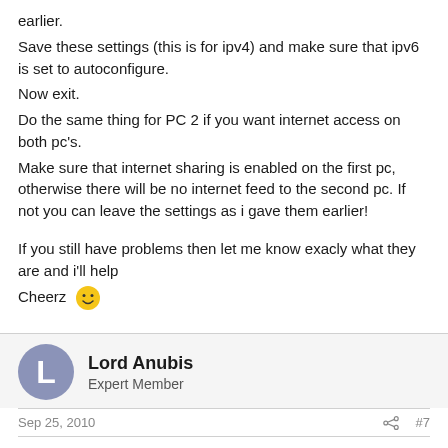earlier.
Save these settings (this is for ipv4) and make sure that ipv6 is set to autoconfigure.
Now exit.
Do the same thing for PC 2 if you want internet access on both pc's.
Make sure that internet sharing is enabled on the first pc, otherwise there will be no internet feed to the second pc. If not you can leave the settings as i gave them earlier!

If you still have problems then let me know exacly what they are and i'll help
Cheerz 🙂
Lord Anubis
Expert Member
Sep 25, 2010
#7
Ok, thanks, ill get back to you in a couple of hours..first need to